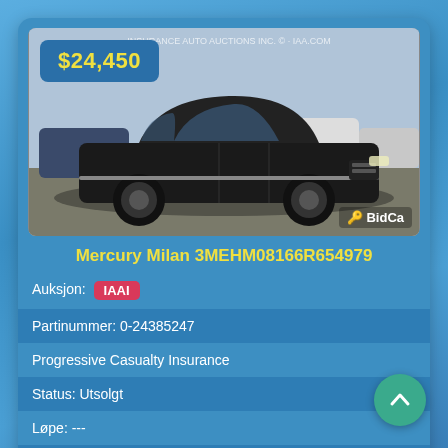[Figure (photo): Black Mercury Milan sedan at an auto auction lot. Price badge showing $24,450 in yellow text on dark blue background in top-left corner. BidCa watermark/logo in bottom-right.]
Mercury Milan 3MEHM08166R654979
Auksjon: IAAI
Partinummer: 0-24385247
Progressive Casualty Insurance
Status: Utsolgt
Løpe: ---
Dato for salg: 2019-04-30